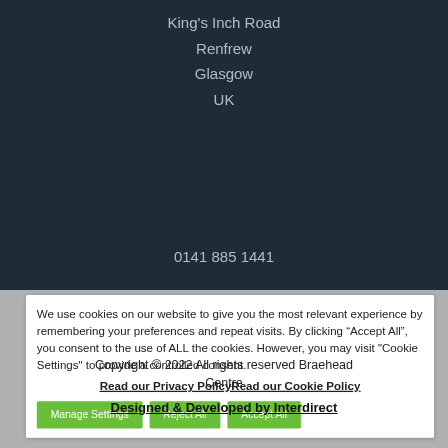King's Inch Road
Renfrew
Glasgow
UK
0141 885 1441
We use cookies on our website to give you the most relevant experience by remembering your preferences and repeat visits. By clicking “Accept All”, you consent to the use of ALL the cookies. However, you may visit "Cookie Settings" to provide a controlled consent.
Read our Privacy PolicyRead our Cookie Policy
Manage Settings | Reject All | Accept All
Copyright © 2022 All rights reserved Braehead Centre
Designed & Developed by Interdirect